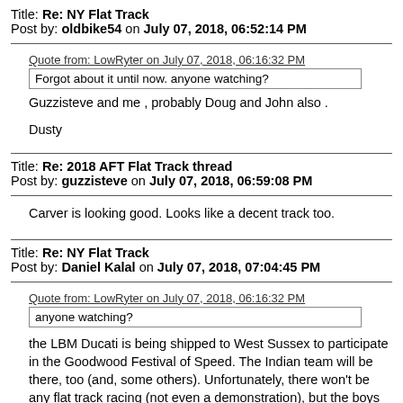Title: Re: NY Flat Track
Post by: oldbike54 on July 07, 2018, 06:52:14 PM
Quote from: LowRyter on July 07, 2018, 06:16:32 PM
Forgot about it until now.  anyone watching?
Guzzisteve and me , probably Doug and John also .

Dusty
Title: Re: 2018 AFT Flat Track thread
Post by: guzzisteve on July 07, 2018, 06:59:08 PM
Carver is looking good. Looks like a decent track too.
Title: Re: NY Flat Track
Post by: Daniel Kalal on July 07, 2018, 07:04:45 PM
Quote from: LowRyter on July 07, 2018, 06:16:32 PM
anyone watching?
the LBM Ducati is being shipped to West Sussex to participate in the Goodwood Festival of Speed.  The Indian team will be there, too (and, some others).  Unfortunately, there won't be any flat track racing (not even a demonstration), but the boys (and Shayna) will at least be able to charge up the hill-climb road and make lots of noise.  The real point is to wave the flag